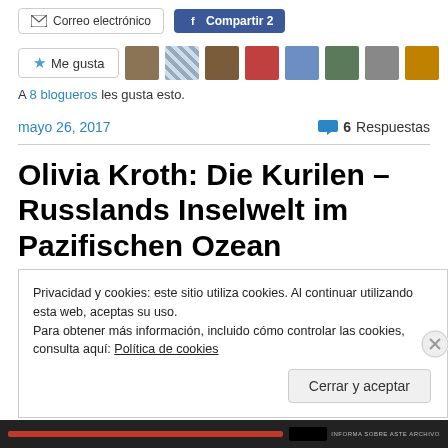[Figure (screenshot): Social sharing buttons: Correo electrónico and Compartir 2 (Facebook)]
[Figure (screenshot): Me gusta button with star icon and row of 8 user avatar thumbnails]
A 8 blogueros les gusta esto.
mayo 26, 2017
6 Respuestas
Olivia Kroth: Die Kurilen – Russlands Inselwelt im Pazifischen Ozean
Privacidad y cookies: este sitio utiliza cookies. Al continuar utilizando esta web, aceptas su uso.
Para obtener más información, incluido cómo controlar las cookies, consulta aquí: Política de cookies
Cerrar y aceptar